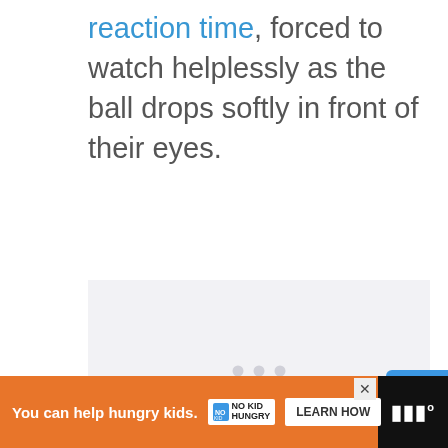reaction time, forced to watch helplessly as the ball drops softly in front of their eyes.
[Figure (screenshot): Embedded video player area with light gray background and three dots indicating loading/placeholder state. Overlaid UI elements include a blue like/heart button box showing count 3, a white circular share button, and a 'What's Next' panel showing a basketball-related video thumbnail with title '7 Types of Passing in...']
[Figure (screenshot): Advertisement banner at bottom: orange background with text 'You can help hungry kids.' with No Kid Hungry logo, a white Learn How button, and a close X button. To the right on black background is a brand logo.]